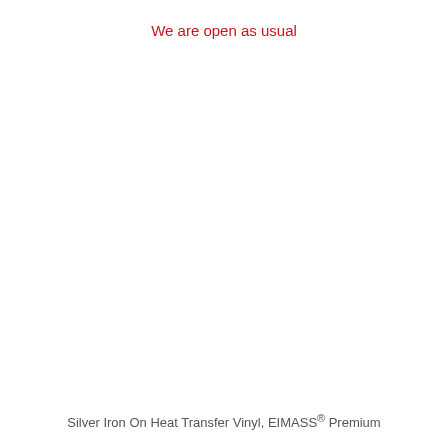We are open as usual
Silver Iron On Heat Transfer Vinyl, EIMASS® Premium